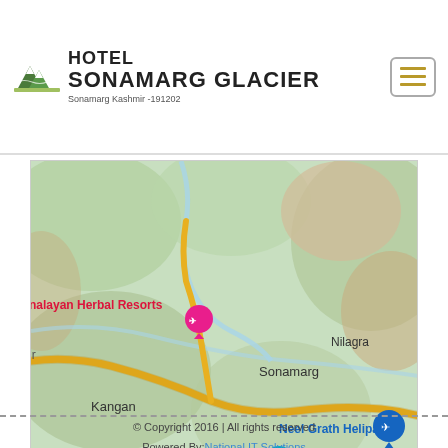[Figure (logo): Hotel Sonamarg Glacier logo with mountain/glacier icon, text HOTEL SONAMARG GLACIER, tagline Sonamarg Kashmir-191202]
[Figure (map): Google Maps screenshot showing Sonamarg region in Kashmir. Shows locations: Himalayan Herbal Resorts (pink pin), Kangan, Sonamarg, Nilagra, Neel Grath Helipad (blue pin with airplane icon), Thajiwas glacier Sonmarg Kashmir (teal pin with camera icon), las. Yellow road winding through green mountain terrain.]
© Copyright 2016 | All rights reserved
Powered By: National IT Solutions